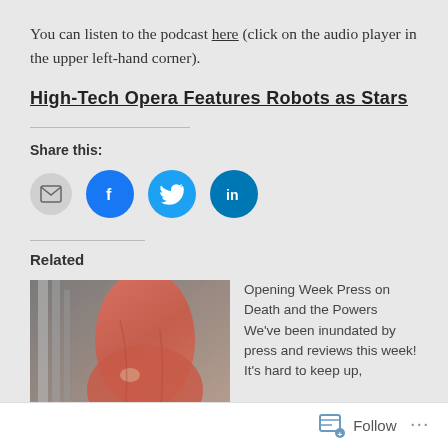You can listen to the podcast here (click on the audio player in the upper left-hand corner).
High-Tech Opera Features Robots as Stars
Share this:
[Figure (infographic): Social share icons: email (grey circle), Facebook (blue circle with f logo), Twitter (light blue circle with bird logo), LinkedIn (dark blue circle with in logo)]
Related
[Figure (photo): A person in a red/coral draped dress, industrial metal pipes visible in the background.]
Opening Week Press on Death and the Powers We've been inundated by press and reviews this week! It's hard to keep up,
Follow ...